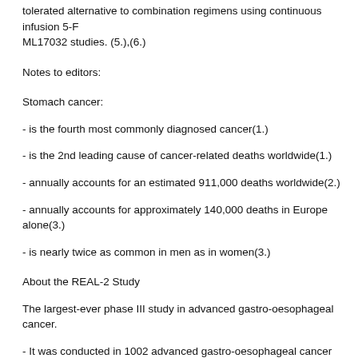tolerated alternative to combination regimens using continuous infusion 5-F ML17032 studies. (5.),(6.)
Notes to editors:
Stomach cancer:
- is the fourth most commonly diagnosed cancer(1.)
- is the 2nd leading cause of cancer-related deaths worldwide(1.)
- annually accounts for an estimated 911,000 deaths worldwide(2.)
- annually accounts for approximately 140,000 deaths in Europe alone(3.)
- is nearly twice as common in men as in women(3.)
About the REAL-2 Study
The largest-ever phase III study in advanced gastro-oesophageal cancer.
- It was conducted in 1002 advanced gastro-oesophageal cancer patients fr
- The study aimed to establish the potential use of Xeloda (X) and oxaliplati